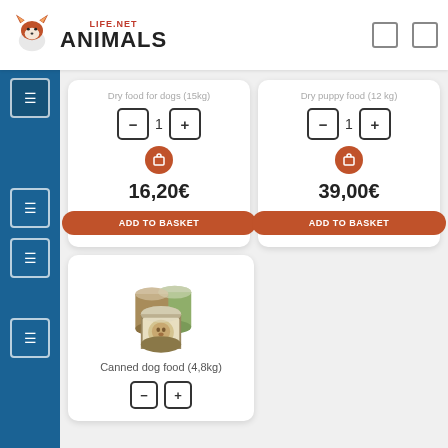[Figure (logo): Animals Life.Net logo with fox icon]
Dry food for dogs (15kg)
Dry puppy food (12 kg)
16,20€
ADD TO BASKET
39,00€
ADD TO BASKET
[Figure (photo): Canned dog food tins stacked]
Canned dog food (4,8kg)